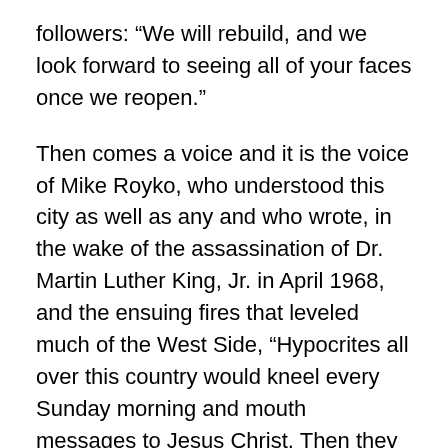followers: “We will rebuild, and we look forward to seeing all of your faces once we reopen.”
Then comes a voice and it is the voice of Mike Royko, who understood this city as well as any and who wrote, in the wake of the assassination of Dr. Martin Luther King, Jr. in April 1968, and the ensuing fires that leveled much of the West Side, “Hypocrites all over this country would kneel every Sunday morning and mouth messages to Jesus Christ. Then they would come out and tell each other, after reading the papers, that somebody should string up King, who was living Christianity like few Americans ever have.”
I can see Mike too. It is the early 1980s and he and I are sitting inside Miller’s Pub and we are with Bill Veeck, who twice owned the White Sox. I did not say a word this night as the two older men talked and drank and laughed and